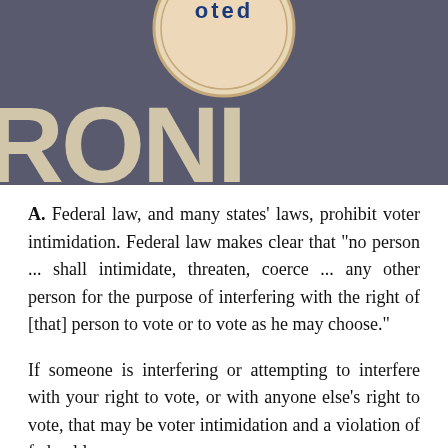[Figure (photo): Photo of a dark grey fabric/t-shirt with the word 'VOTED' on a badge/button at the top and large cream-colored letters 'RONI' (partial word, likely 'FRONT') printed across the fabric in a bold blocky font.]
A. Federal law, and many states' laws, prohibit voter intimidation. Federal law makes clear that "no person ... shall intimidate, threaten, coerce ... any other person for the purpose of interfering with the right of [that] person to vote or to vote as he may choose."
If someone is interfering or attempting to interfere with your right to vote, or with anyone else's right to vote, that may be voter intimidation and a violation of federal law.